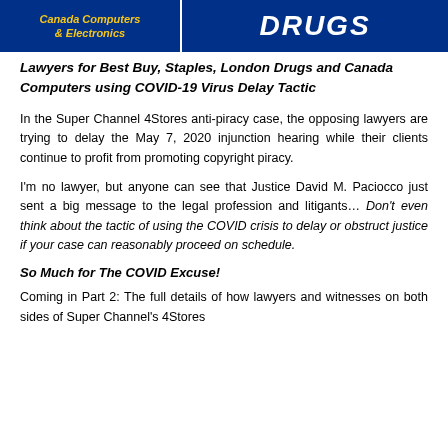[Figure (logo): Header banner with two sections: left dark blue box with yellow italic bold text 'Canada Computers & Electronics', right dark blue box with white bold italic text 'Drugs' in large font]
Lawyers for Best Buy, Staples, London Drugs and Canada Computers using COVID-19 Virus Delay Tactic
In the Super Channel 4Stores anti-piracy case, the opposing lawyers are trying to delay the May 7, 2020 injunction hearing while their clients continue to profit from promoting copyright piracy.
I'm no lawyer, but anyone can see that Justice David M. Paciocco just sent a big message to the legal profession and litigants… Don't even think about the tactic of using the COVID crisis to delay or obstruct justice if your case can reasonably proceed on schedule.
So Much for The COVID Excuse!
Coming in Part 2: The full details of how lawyers and witnesses on both sides of Super Channel's 4Stores